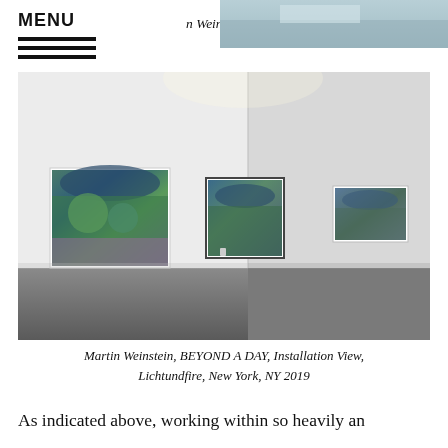MENU | n Weinstein, Winter Mornings, 2 Years, 2018
[Figure (photo): Gallery installation view showing three landscape paintings hung on white walls in a white-walled gallery space with gray floor and overhead fluorescent lighting. Martin Weinstein, BEYOND A DAY, Installation View, Lichtundfire, New York, NY 2019]
Martin Weinstein, BEYOND A DAY, Installation View, Lichtundfire, New York, NY 2019
As indicated above, working within so heavily an